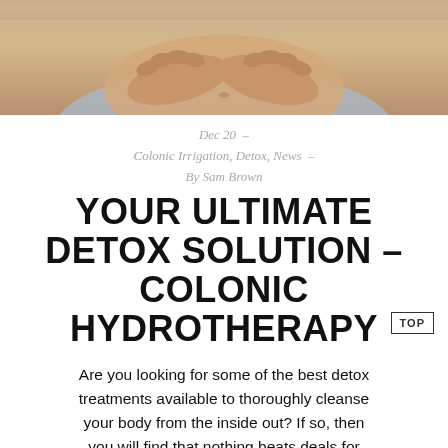[Figure (photo): Close-up photograph of a person's hands placed on their abdomen/stomach area, wearing a light grey top. The hands are cupped gently over the belly area.]
Dec 20 – Colonic Irrigation, Detox, News – By Sam Brown
YOUR ULTIMATE DETOX SOLUTION – COLONIC HYDROTHERAPY
Are you looking for some of the best detox treatments available to thoroughly cleanse your body from the inside out? If so, then you will find that nothing beats deals for